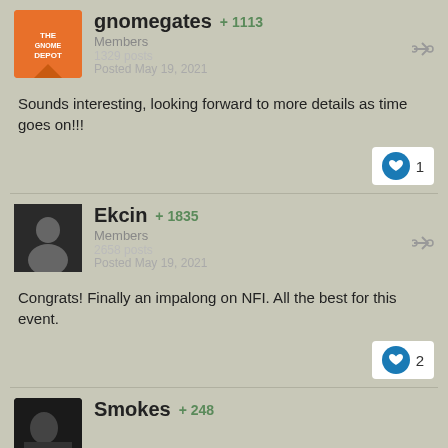gnomegates +1113 Members 1329 posts Posted May 19, 2021
Sounds interesting, looking forward to more details as time goes on!!!
Ekcin +1835 Members 2658 posts Posted May 19, 2021
Congrats! Finally an impalong on NFI. All the best for this event.
Smokes +248